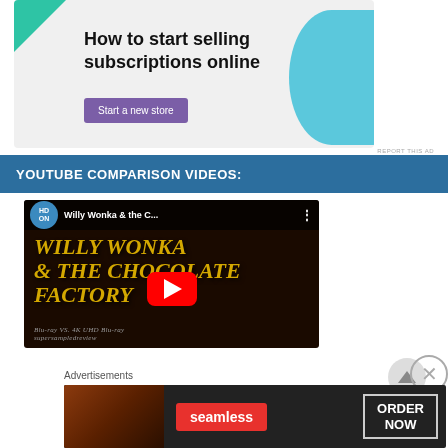[Figure (infographic): Advertisement banner: 'How to start selling subscriptions online' with a purple 'Start a new store' button, teal/green geometric shapes on white/light gray background]
YOUTUBE COMPARISON VIDEOS:
[Figure (screenshot): YouTube video thumbnail for 'Willy Wonka & the C...' showing the Willy Wonka & the Chocolate Factory title card with a red YouTube play button overlay]
Advertisements
[Figure (infographic): Seamless food delivery advertisement with pizza image on dark background, red Seamless logo, and 'ORDER NOW' button]